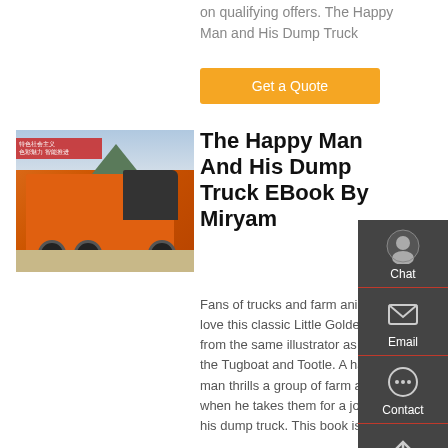on qualifying offers. The Happy Man and His Dump Truck
Get a Quote
[Figure (photo): Orange dump truck (HOWO brand) parked outdoors with mountains and a red banner with Chinese text in the background]
The Happy Man And His Dump Truck EBook By Miryam
Fans of trucks and farm animals will love this classic Little Golden Book, from the same illustrator as Scuffy the Tugboat and Tootle. A happy man thrills a group of farm animals when he takes them for a joy ride in his dump truck. This book is a tru
Chat
Email
Contact
Top